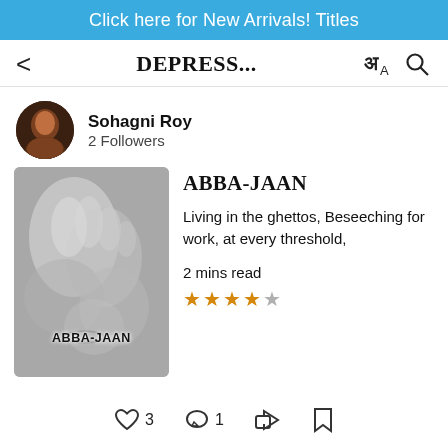Click here for New Arrivals! Titles
DEPRESS...
Sohagni Roy
2 Followers
[Figure (photo): Book cover for ABBA-JAAN showing a black and white photo of baby feet/hands with the text ABBA-JAAN overlaid]
ABBA-JAAN
Living in the ghettos, Beseeching for work, at every threshold,
2 mins read
★★★★☆ (4 out of 5 stars)
❤ 3   💬 1   Share   Bookmark